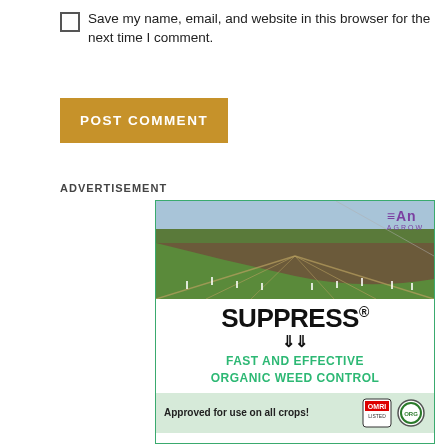Save my name, email, and website in this browser for the next time I comment.
POST COMMENT
ADVERTISEMENT
[Figure (illustration): Advertisement for EAN Agrow SUPPRESS organic weed control product. Shows a photo of green crop rows in a field with the EAN Agrow logo in the top right. Below the photo is the SUPPRESS® brand name in large bold text with downward arrows, followed by 'FAST AND EFFECTIVE ORGANIC WEED CONTROL' in green text. A light green footer reads 'Approved for use on all crops!' with OMRI Listed and other certification badges. The ad has a green border.]